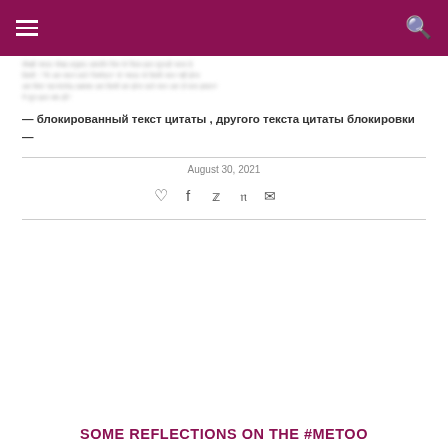Navigation bar with hamburger menu and search icon
blurred body text paragraph in non-Latin script
— блокированный текст цитаты , другого текста цитаты блокировки —
August 30, 2021
[Figure (other): Social sharing icons: heart, facebook, twitter, pinterest, email]
SOME REFLECTIONS ON THE #METOO